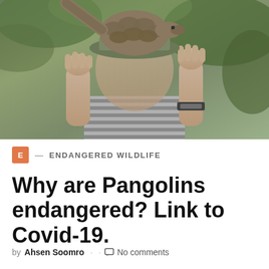[Figure (photo): A person holding a pangolin on their head/shoulders, outdoors with green foliage in background. The person is wearing a striped shirt and a watch.]
E — ENDANGERED WILDLIFE
Why are Pangolins endangered? Link to Covid-19.
by Ahsen Soomro · · No comments